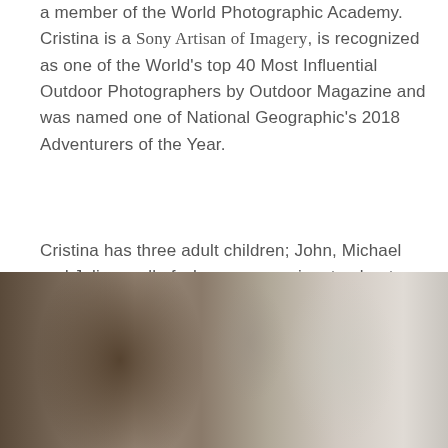a member of the World Photographic Academy. Cristina is a Sony Artisan of Imagery, is recognized as one of the World's top 40 Most Influential Outdoor Photographers by Outdoor Magazine and was named one of National Geographic's 2018 Adventurers of the Year.
Cristina has three adult children; John, Michael and Juliana, all of whom are passionate about nature.
[Figure (photo): A blurred photograph showing people, partially visible at the bottom of the page. The image is cropped and only the upper portion is visible.]